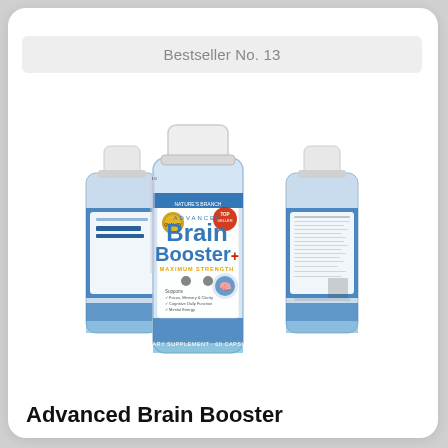Bestseller No. 13
[Figure (photo): Three bottles of Advanced Brain Booster+ dietary supplement (Maximum Strength, 60 capsules) by Nature's Branch. The center bottle faces forward showing the label with blue branding, a gold badge, a red circle badge, and text: 'Supports Focus, Memory & Clarity, Cognitive Daily Function, Mental Energy'. Two bottles are positioned slightly behind on each side.]
Advanced Brain Booster